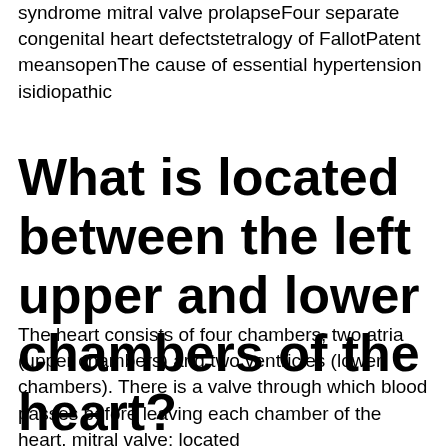syndrome mitral valve prolapseFour separate congenital heart defectstetralogy of FallotPatent meansopenThe cause of essential hypertension isidiopathic
What is located between the left upper and lower chambers of the heart?
The heart consists of four chambers, two atria (upper chambers) and two ventricles (lower chambers). There is a valve through which blood passes before leaving each chamber of the heart. mitral valve: located between the left atrium and the left